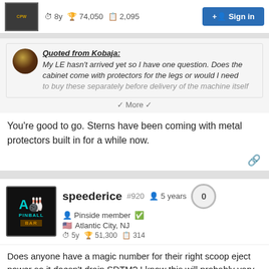8y  74,050  2,095  Sign in
Quoted from Kobaja:
My LE hasn't arrived yet so I have one question. Does the cabinet come with protectors for the legs or would I need to buy these separately before delivery of the machine itself
v More v
You're good to go. Sterns have been coming with metal protectors built in for a while now.
speederice  #920  5 years  0
Pinside member ✓
Atlantic City, NJ
5y  51,300  314
Does anyone have a magic number for their right scoop eject power so it doesn't drain SDTM? I know this will probably vary depending on how people have leveled their games, but I think for GB, there was a commonly accepted number for that left scoop kickout that would help with the center drains.